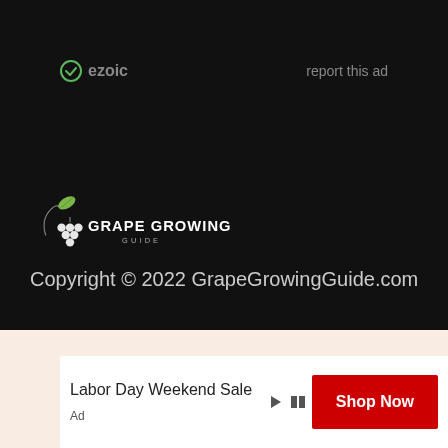[Figure (logo): Ezoic logo with circular icon and 'ezoic' text in grey]
report this ad
[Figure (logo): Grape Growing Guide logo with grape cluster and leaf, white text on dark background]
Copyright © 2022 GrapeGrowingGuide.com
[Figure (screenshot): Advertisement banner: 'Labor Day Weekend Sale' with red 'Shop Now' button on light peach background]